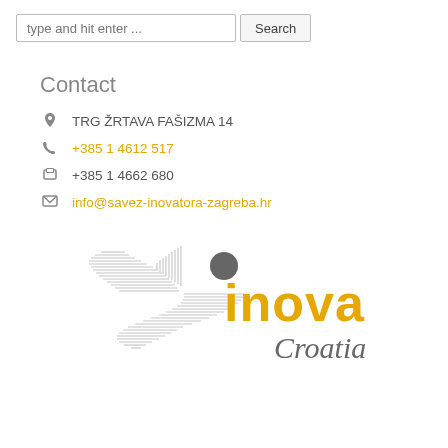type and hit enter ...
Contact
TRG ŽRTAVA FAŠIZMA 14
+385 1 4612 517
+385 1 4662 680
info@savez-inovatora-zagreba.hr
[Figure (logo): Inova Croatia logo — stylized star/arrow graphic in grey lines with a dark grey circle, beside yellow bold text 'inova' and grey italic cursive text 'Croatia']